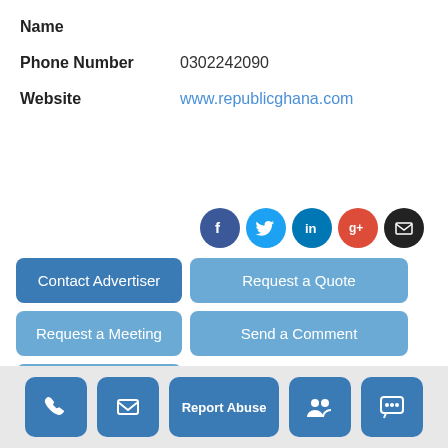Name
Phone Number  0302242090
Website  www.republicghana.com
[Figure (infographic): Social media icons row: Facebook (dark blue circle), Twitter (light blue circle), LinkedIn (blue circle), Google+ (red circle), Email (black circle)]
Contact Advertiser
Request a Quote
Request a Meeting
Send a Comment
Report Abuse
Phone | Email | Report Abuse | Group | Chat